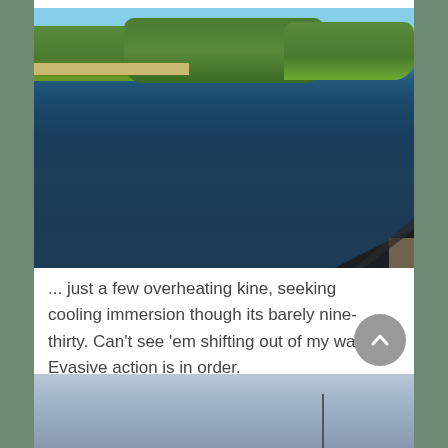[Figure (photo): View from a rowing boat on a wide river with dark blue rippling water. Green vegetation and reeds line the far bank under a light blue sky. A boat oar or part of the boat is visible in the bottom right corner.]
... just a few overheating kine, seeking cooling immersion though its barely nine-thirty. Can't see 'em shifting out of my way. Evasive action is in order.
[Figure (photo): Partial view of a hazy sky with a mast or pole silhouette visible, bottom portion of the page.]